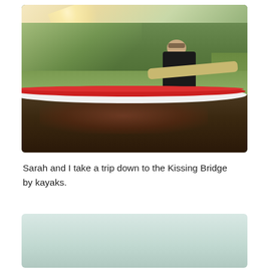[Figure (photo): A woman in sunglasses sitting in a red and white kayak on a dark water river or pond, with lush green trees and reeds in the background, sunlight flaring from upper left.]
Sarah and I take a trip down to the Kissing Bridge by kayaks.
[Figure (photo): Partial view of a second photo showing a light blue-green scene, likely water or sky.]